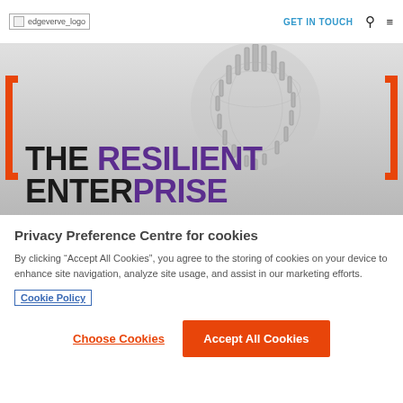edgeverve_logo | GET IN TOUCH
[Figure (illustration): Hero banner with a 3D globe made of skyscrapers. Large bold text reads 'THE RESILIENT ENTERPRISE' with orange bracket decorations on left and right sides. 'RESILIENT' and 'ENTERPRISE' are overlaid in purple.]
Privacy Preference Centre for cookies
By clicking “Accept All Cookies”, you agree to the storing of cookies on your device to enhance site navigation, analyze site usage, and assist in our marketing efforts.
Cookie Policy
Choose Cookies
Accept All Cookies